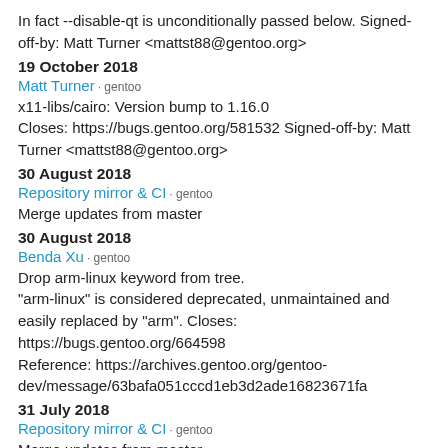In fact --disable-qt is unconditionally passed below. Signed-off-by: Matt Turner <mattst88@gentoo.org>
19 October 2018
Matt Turner · gentoo
x11-libs/cairo: Version bump to 1.16.0
Closes: https://bugs.gentoo.org/581532 Signed-off-by: Matt Turner <mattst88@gentoo.org>
30 August 2018
Repository mirror & CI · gentoo
Merge updates from master
30 August 2018
Benda Xu · gentoo
Drop arm-linux keyword from tree.
"arm-linux" is considered deprecated, unmaintained and easily replaced by "arm". Closes: https://bugs.gentoo.org/664598
Reference: https://archives.gentoo.org/gentoo-dev/message/63bafa051cccd1eb3d2ade16823671fa
31 July 2018
Repository mirror & CI · gentoo
Merge updates from master
31 July 2018
Matt Turner · gentoo